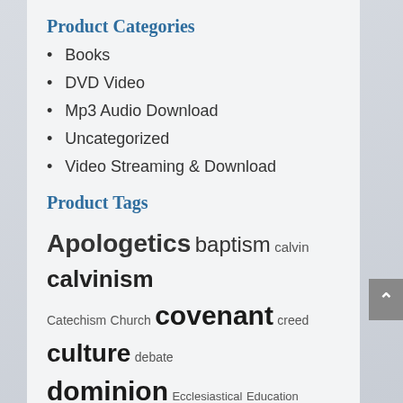Product Categories
Books
DVD Video
Mp3 Audio Download
Uncategorized
Video Streaming & Download
Product Tags
Apologetics baptism calvin calvinism Catechism Church covenant creed culture debate dominion Ecclesiastical Education elements eschatology escondido full preterism Gentry Gordon Clark grace history Holy